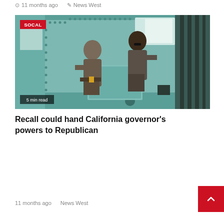11 months ago   News West
[Figure (photo): Two correctional officers in brown uniforms working inside a green-painted prison chamber or gas chamber room. One officer is bending over examining equipment. A red 'SOCAL' badge overlays the top-left corner. '5 min read' label in bottom-left.]
Recall could hand California governor's powers to Republican
11 months ago   News West